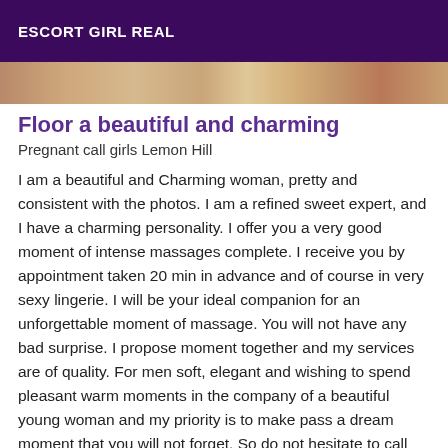ESCORT GIRL REAL
[Figure (photo): Partial photo strip showing a person, cropped at top of content area]
Floor a beautiful and charming
Pregnant call girls Lemon Hill
I am a beautiful and Charming woman, pretty and consistent with the photos. I am a refined sweet expert, and I have a charming personality. I offer you a very good moment of intense massages complete. I receive you by appointment taken 20 min in advance and of course in very sexy lingerie. I will be your ideal companion for an unforgettable moment of massage. You will not have any bad surprise. I propose moment together and my services are of quality. For men soft, elegant and wishing to spend pleasant warm moments in the company of a beautiful young woman and my priority is to make pass a dream moment that you will not forget. So do not hesitate to call me...**MY PHOTOS ARE 100% REAL NO SURPRISE! Thank you and see